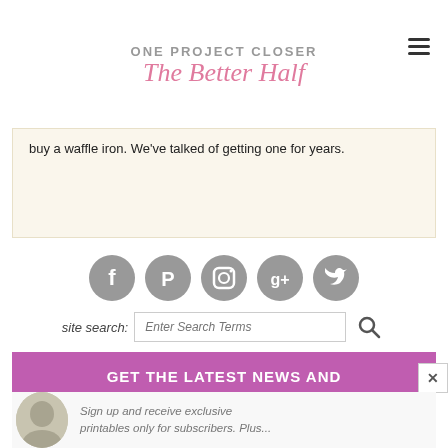[Figure (logo): One Project Closer - The Better Half logo with gray uppercase text and pink script]
buy a waffle iron. We've talked of getting one for years.
[Figure (infographic): Row of five gray social media icons: Facebook, Pinterest, Instagram, Google+, Twitter]
site search: Enter Search Terms
GET THE LATEST NEWS AND PRINTABLES!
Sign up and receive exclusive printables only for subscribers. Plus...